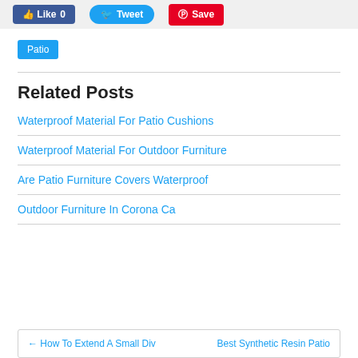Like 0  Tweet  Save
Patio
Related Posts
Waterproof Material For Patio Cushions
Waterproof Material For Outdoor Furniture
Are Patio Furniture Covers Waterproof
Outdoor Furniture In Corona Ca
← How To Extend A Small Div   Best Synthetic Resin Patio